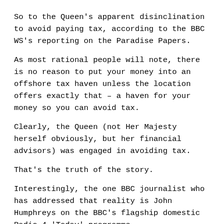So to the Queen's apparent disinclination to avoid paying tax, according to the BBC WS's reporting on the Paradise Papers.
As most rational people will note, there is no reason to put your money into an offshore tax haven unless the location offers exactly that – a haven for your money so you can avoid tax.
Clearly, the Queen (not Her Majesty herself obviously, but her financial advisors) was engaged in avoiding tax.
That's the truth of the story.
Interestingly, the one BBC journalist who has addressed that reality is John Humphreys on the BBC's flagship domestic Radio 4 'Today' programme.
But not the BBC World Service. Not that I could hear. I think this serves the World Service ill and undermines its reputation in the wider world...